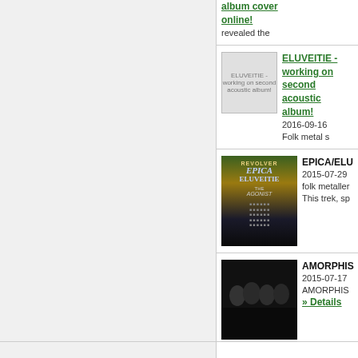album cover online!
revealed the
[Figure (photo): ELUVEITIE working on second acoustic album thumbnail/placeholder image]
ELUVEITIE - working on second acoustic album!
2016-09-16
Folk metal s
[Figure (photo): EPICA/ELUVEITIE tour poster featuring Revolver, Epica, Eluveitie, and The Agonist]
EPICA/ELU
2015-07-29
folk metaller
This trek, sp
[Figure (photo): AMORPHIS band photo - four men in black and white photo]
AMORPHIS
2015-07-17
AMORPHIS
» Details